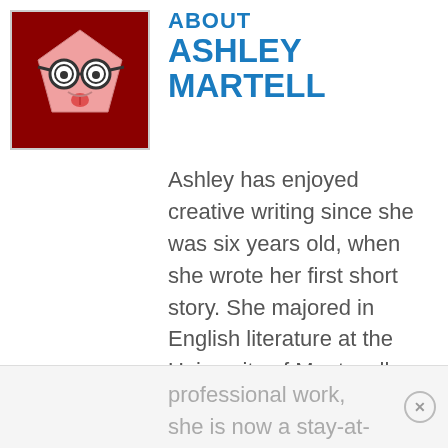[Figure (illustration): A cartoon avatar of a person wearing glasses with tongue out, on a dark red background, framed with a light gray border.]
ABOUT ASHLEY MARTELL
Ashley has enjoyed creative writing since she was six years old, when she wrote her first short story. She majored in English literature at the University of Montevallo. After years of professional work, she is now a stay-at-